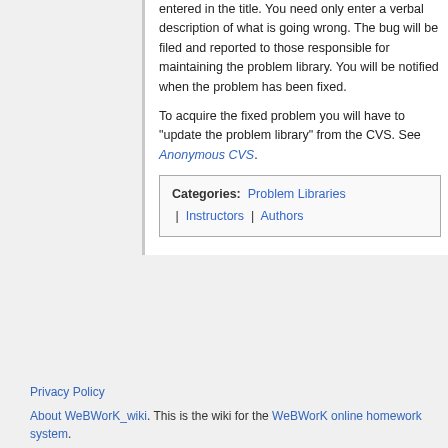entered in the title. You need only enter a verbal description of what is going wrong. The bug will be filed and reported to those responsible for maintaining the problem library. You will be notified when the problem has been fixed.
To acquire the fixed problem you will have to "update the problem library" from the CVS. See Anonymous CVS.
| Categories:  Problem Libraries | Instructors | Authors |
Privacy Policy
About WeBWorK_wiki. This is the wiki for the WeBWorK online homework system.
MAA Online Disclaimer